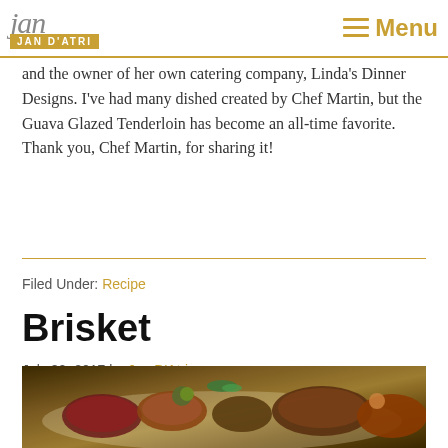JAN D'ATRI | Menu
and the owner of her own catering company, Linda's Dinner Designs. I've had many dished created by Chef Martin, but the Guava Glazed Tenderloin has become an all-time favorite. Thank you, Chef Martin, for sharing it!
Filed Under: Recipe
Brisket
July 20, 2017 by Jan D'Atri
[Figure (photo): Food photo showing brisket dish with vegetables and garnish]